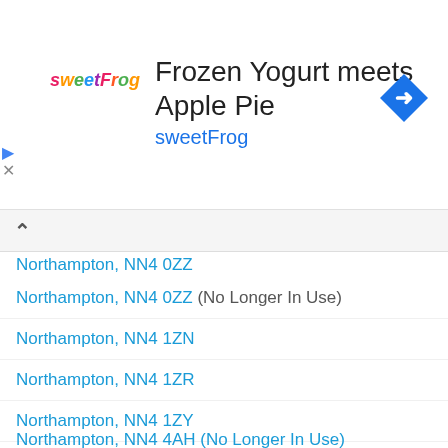[Figure (screenshot): sweetFrog advertisement banner with logo, title 'Frozen Yogurt meets Apple Pie', subtitle 'sweetFrog', and a blue navigation diamond icon]
Northampton, NN4 0ZZ (No Longer In Use)
Northampton, NN4 1ZN
Northampton, NN4 1ZR
Northampton, NN4 1ZY
Northampton, NN4 1ZZ (No Longer In Use)
Northampton, NN4 4AA (No Longer In Use)
Northampton, NN4 4AB (No Longer In Use)
Northampton, NN4 4AD (No Longer In Use)
Northampton, NN4 4AE (No Longer In Use)
Northampton, NN4 4AF (No Longer In Use)
Northampton, NN4 4AG (No Longer In Use)